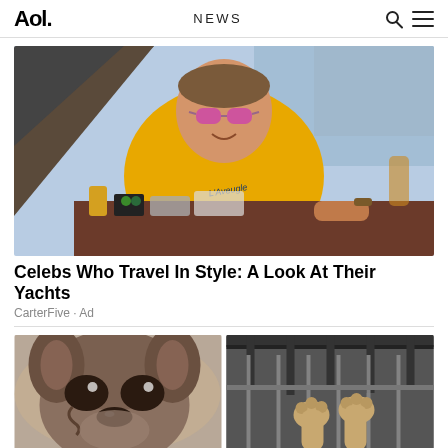Aol. | NEWS
[Figure (photo): Celebrity man in yellow t-shirt and colorful sunglasses sitting on a yacht with items on a table in front of him]
Celebs Who Travel In Style: A Look At Their Yachts
CarterFive · Ad
[Figure (photo): Close-up of a French Bulldog puppy face]
[Figure (photo): Cat or animal behind cage bars]